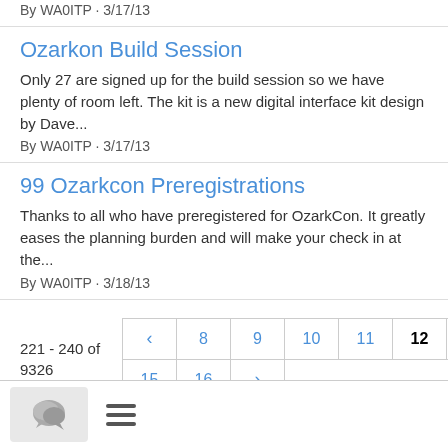By WA0ITP · 3/17/13
Ozarkon Build Session
Only 27 are signed up for the build session so we have plenty of room left. The kit is a new digital interface kit design by Dave...
By WA0ITP · 3/17/13
99 Ozarkcon Preregistrations
Thanks to all who have preregistered for OzarkCon. It greatly eases the planning burden and will make your check in at the...
By WA0ITP · 3/18/13
221 - 240 of 9326
< 8 9 10 11 12 13 14 15 16 >
chat icon and hamburger menu